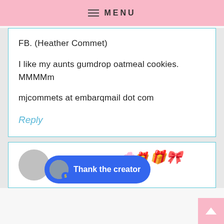MENU
FB. (Heather Commet)
I like my aunts gumdrop oatmeal cookies. MMMMm
mjcommets at embarqmail dot com
Reply
Jasmine Kim says: December 12, 2010 at